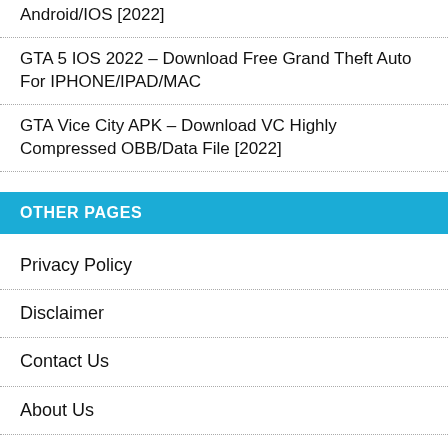Android/IOS [2022]
GTA 5 IOS 2022 – Download Free Grand Theft Auto For IPHONE/IPAD/MAC
GTA Vice City APK – Download VC Highly Compressed OBB/Data File [2022]
OTHER PAGES
Privacy Policy
Disclaimer
Contact Us
About Us